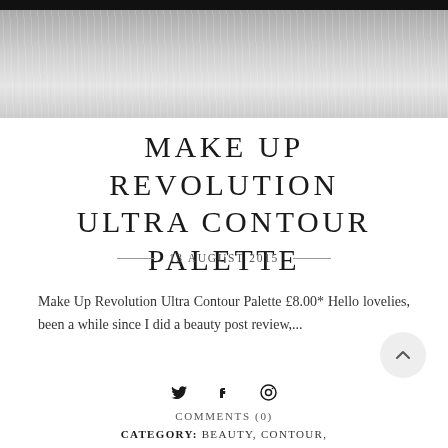[Figure (photo): Top portion of a product photo showing a white fur-like texture background with a dark object at the top edge]
MAKE UP REVOLUTION ULTRA CONTOUR PALETTE
13 AUGUST 2015
Make Up Revolution Ultra Contour Palette £8.00* Hello lovelies, been a while since I did a beauty post review,...
COMMENTS (0)
CATEGORY: BEAUTY, CONTOUR,